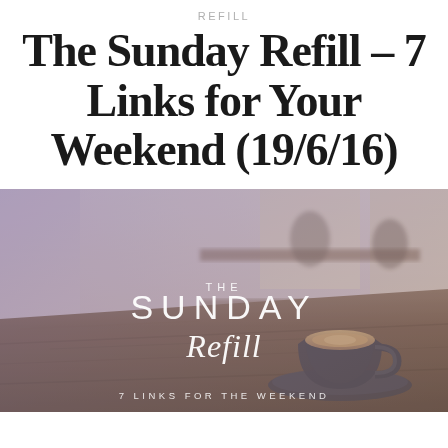REFILL
The Sunday Refill – 7 Links for Your Weekend (19/6/16)
[Figure (photo): Cafe/coffee shop interior scene with wooden bar counter, coffee cups, and people in background. Overlaid text reads: THE SUNDAY REFILL, Refill (in script), 7 LINKS FOR THE WEEKEND]